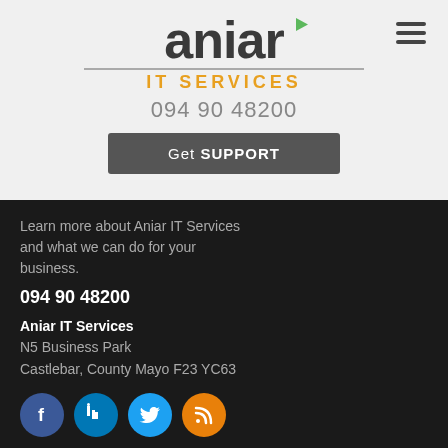[Figure (logo): Aniar IT Services logo with play button triangle above the 'i', orange 'IT SERVICES' text below, and a horizontal rule separating logo from tagline]
094 90 48200
Get SUPPORT
Learn more about Aniar IT Services and what we can do for your business.
094 90 48200
Aniar IT Services
N5 Business Park
Castlebar, County Mayo F23 YC63
[Figure (illustration): Four social media icons in circles: Facebook (blue), LinkedIn (blue), Twitter (cyan), RSS (orange)]